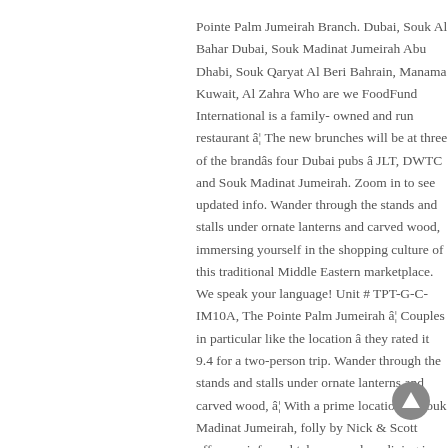Pointe Palm Jumeirah Branch. Dubai, Souk Al Bahar Dubai, Souk Madinat Jumeirah Abu Dhabi, Souk Qaryat Al Beri Bahrain, Manama Kuwait, Al Zahra Who are we FoodFund International is a family-owned and run restaurant â¦ The new brunches will be at three of the brandâs four Dubai pubs â JLT, DWTC and Souk Madinat Jumeirah. Zoom in to see updated info. Wander through the stands and stalls under ornate lanterns and carved wood, immersing yourself in the shopping culture of this traditional Middle Eastern marketplace. We speak your language! Unit # TPT-G-C-IM10A, The Pointe Palm Jumeirah â¦ Couples in particular like the location â they rated it 9.4 for a two-person trip. Wander through the stands and stalls under ornate lanterns and carved wood, â¦ With a prime location in Souk Madinat Jumeirah, folly by Nick & Scott offers an informal take on modern dining in a relaxed, welcoming environment. Burj Al Arab Jumeirah dà il
[Figure (other): Up arrow button (navigation icon) in bottom right area]